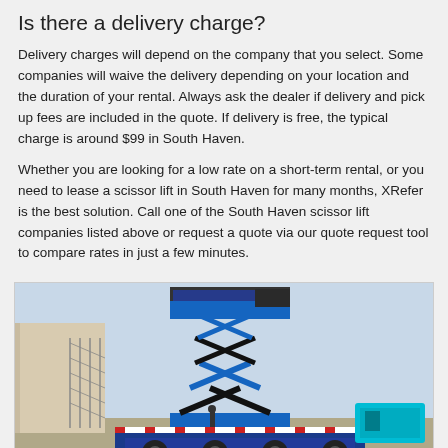Is there a delivery charge?
Delivery charges will depend on the company that you select. Some companies will waive the delivery depending on your location and the duration of your rental. Always ask the dealer if delivery and pick up fees are included in the quote. If delivery is free, the typical charge is around $99 in South Haven.
Whether you are looking for a low rate on a short-term rental, or you need to lease a scissor lift in South Haven for many months, XRefer is the best solution. Call one of the South Haven scissor lift companies listed above or request a quote via our quote request tool to compare rates in just a few minutes.
[Figure (photo): A blue scissor lift elevated on a flatbed truck in an industrial/parking lot setting, with a chain-link fence and building on the left, and additional equipment on the right.]